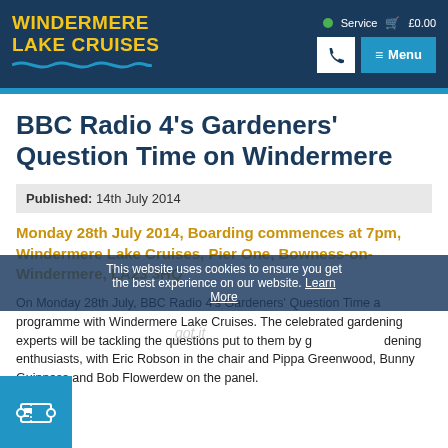[Figure (logo): Windermere Lake Cruises logo with yellow text on dark blue background, with wave graphic]
Service  £0.00  [phone icon]  ≡ Menu
BBC Radio 4's Gardeners' Question Time on Windermere
Published: 14th July 2014
Monday 28th July 2014, Boarding commences at 7pm, Windermere Lake Cruises, Pier One, Bowness-on-Windermere, LA23 3HQ
On Monday 28th July, BBC Radio 4's Gardeners' Question Time a programme with Windermere Lake Cruises. The celebrated gardening experts will be tackling the questions put to them by gardening enthusiasts, with Eric Robson in the chair and Pippa Greenwood, Bunny Guinness and Bob Flowerdew on the panel.